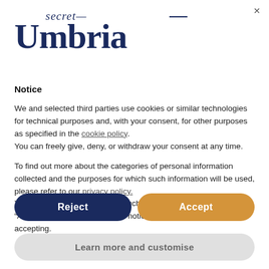[Figure (logo): Secret Umbria logo with italic 'secret' text above large bold 'Umbria' text in dark navy blue]
Notice
We and selected third parties use cookies or similar technologies for technical purposes and, with your consent, for other purposes as specified in the cookie policy.
You can freely give, deny, or withdraw your consent at any time.
To find out more about the categories of personal information collected and the purposes for which such information will be used, please refer to our privacy policy.
You can consent to the use of such technologies by using the “Accept” button. By closing this notice, you continue without accepting.
Reject
Accept
Learn more and customise